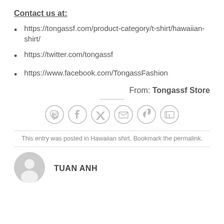Contact us at:
https://tongassf.com/product-category/t-shirt/hawaiian-shirt/
https://twitter.com/tongassf
https://www.facebook.com/TongassFashion
From: Tongassf Store
[Figure (infographic): Social share icons row: WhatsApp, Facebook, Twitter, Email, Pinterest, LinkedIn — all gray circle outline icons]
This entry was posted in Hawaiian shirt. Bookmark the permalink.
TUAN ANH